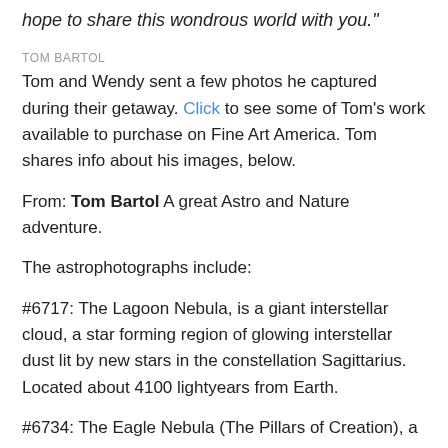hope to share this wondrous world with you."
TOM BARTOL
Tom and Wendy sent a few photos he captured during their getaway. Click to see some of Tom's work available to purchase on Fine Art America. Tom shares info about his images, below.
From: Tom Bartol A great Astro and Nature adventure.
The astrophotographs include:
#6717:  The Lagoon Nebula, is a giant interstellar cloud, a star forming region of glowing interstellar dust lit by new stars in the constellation Sagittarius.  Located about 4100 lightyears from Earth.
#6734:  The Eagle Nebula (The Pillars of Creation), a star